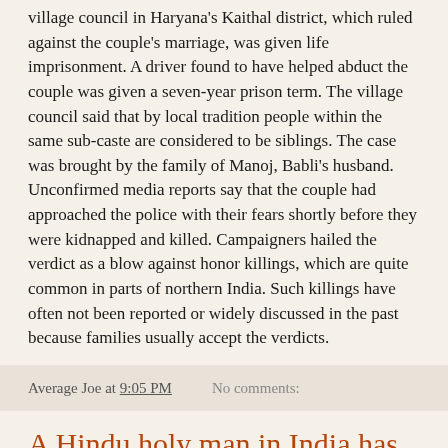village council in Haryana's Kaithal district, which ruled against the couple's marriage, was given life imprisonment. A driver found to have helped abduct the couple was given a seven-year prison term. The village council said that by local tradition people within the same sub-caste are considered to be siblings. The case was brought by the family of Manoj, Babli's husband. Unconfirmed media reports say that the couple had approached the police with their fears shortly before they were kidnapped and killed. Campaigners hailed the verdict as a blow against honor killings, which are quite common in parts of northern India. Such killings have often not been reported or widely discussed in the past because families usually accept the verdicts.
Average Joe at 9:05 PM    No comments:
A Hindu holy man in India has quit as head of a religious organization after police launched a probe into allegations of obscenity against him